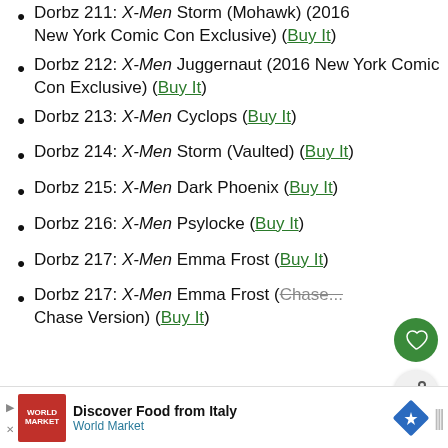Dorbz 211: X-Men Storm (Mohawk) (2016 New York Comic Con Exclusive) (Buy It)
Dorbz 212: X-Men Juggernaut (2016 New York Comic Con Exclusive) (Buy It)
Dorbz 213: X-Men Cyclops (Buy It)
Dorbz 214: X-Men Storm (Vaulted) (Buy It)
Dorbz 215: X-Men Dark Phoenix (Buy It)
Dorbz 216: X-Men Psylocke (Buy It)
Dorbz 217: X-Men Emma Frost (Buy It)
Dorbz 217: X-Men Emma Frost (Chase Version) (Buy It)
Discover Food from Italy  World Market